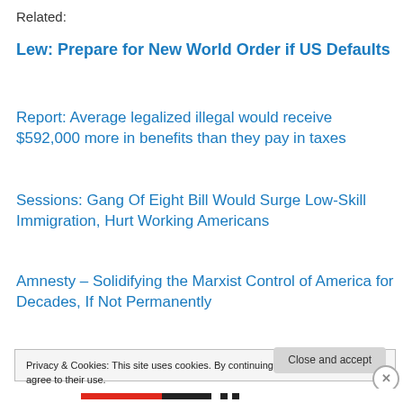Related:
Lew: Prepare for New World Order if US Defaults
Report: Average legalized illegal would receive $592,000 more in benefits than they pay in taxes
Sessions: Gang Of Eight Bill Would Surge Low-Skill Immigration, Hurt Working Americans
Amnesty – Solidifying the Marxist Control of America for Decades, If Not Permanently
Privacy & Cookies: This site uses cookies. By continuing to use this website, you agree to their use. To find out more, including how to control cookies, see here: Cookie Policy